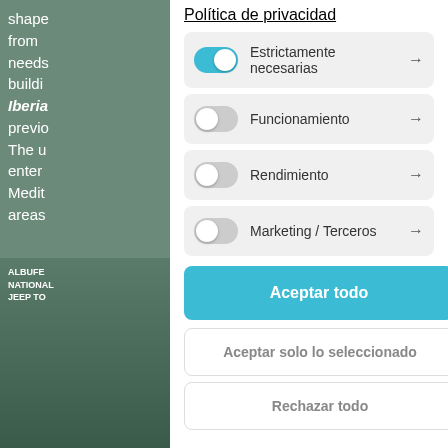shape from needs buildi Iberia previo The u enter Medit areas
[Figure (photo): Background image showing outdoor scene with ALBUFE NATIONAL JEEP TO sign and palm trees]
Política de privacidad
Estrictamente necesarias (toggle on) →
Funcionamiento (toggle off) →
Rendimiento (toggle off) →
Marketing / Terceros (toggle off) →
Aceptar todo
Aceptar solo lo seleccionado
Rechazar todo